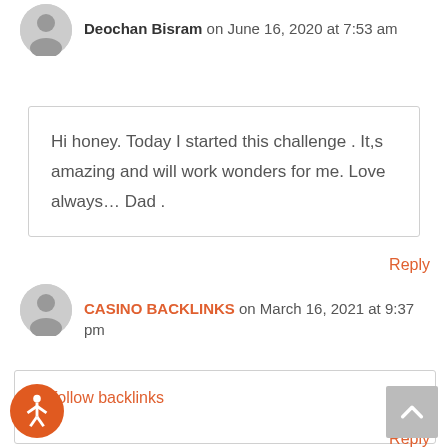Deochan Bisram on June 16, 2020 at 7:53 am
Hi honey. Today I started this challenge . It,s amazing and will work wonders for me. Love always… Dad .
Reply
CASINO BACKLINKS on March 16, 2021 at 9:37 pm
dofollow backlinks
Reply